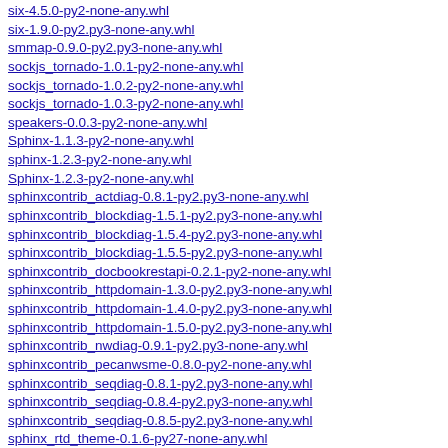six-4.5.0-py2-none-any.whl
six-1.9.0-py2.py3-none-any.whl
smmap-0.9.0-py2.py3-none-any.whl
sockjs_tornado-1.0.1-py2-none-any.whl
sockjs_tornado-1.0.2-py2-none-any.whl
sockjs_tornado-1.0.3-py2-none-any.whl
speakers-0.0.3-py2-none-any.whl
Sphinx-1.1.3-py2-none-any.whl
sphinx-1.2.3-py2-none-any.whl
Sphinx-1.2.3-py2-none-any.whl
sphinxcontrib_actdiag-0.8.1-py2.py3-none-any.whl
sphinxcontrib_blockdiag-1.5.1-py2.py3-none-any.whl
sphinxcontrib_blockdiag-1.5.4-py2.py3-none-any.whl
sphinxcontrib_blockdiag-1.5.5-py2.py3-none-any.whl
sphinxcontrib_docbookrestapi-0.2.1-py2-none-any.whl
sphinxcontrib_httpdomain-1.3.0-py2.py3-none-any.whl
sphinxcontrib_httpdomain-1.4.0-py2.py3-none-any.whl
sphinxcontrib_httpdomain-1.5.0-py2.py3-none-any.whl
sphinxcontrib_nwdiag-0.9.1-py2.py3-none-any.whl
sphinxcontrib_pecanwsme-0.8.0-py2-none-any.whl
sphinxcontrib_seqdiag-0.8.1-py2.py3-none-any.whl
sphinxcontrib_seqdiag-0.8.4-py2.py3-none-any.whl
sphinxcontrib_seqdiag-0.8.5-py2.py3-none-any.whl
sphinx_rtd_theme-0.1.6-py27-none-any.whl
SQLAlchemy-0.7.10-cp27-none-linux_x86_64.whl
SQLAlchemy-0.7.9-cp27-none-linux_x86_64.whl